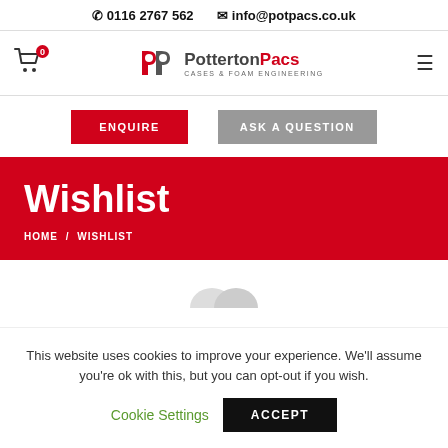📞 0116 2767 562  ✉ info@potpacs.co.uk
[Figure (logo): Potterton Pacs logo with red PP icon and text 'PottertonPacs CASES & FOAM ENGINEERING']
ENQUIRE  ASK A QUESTION
Wishlist
HOME / WISHLIST
This website uses cookies to improve your experience. We'll assume you're ok with this, but you can opt-out if you wish.
Cookie Settings  ACCEPT